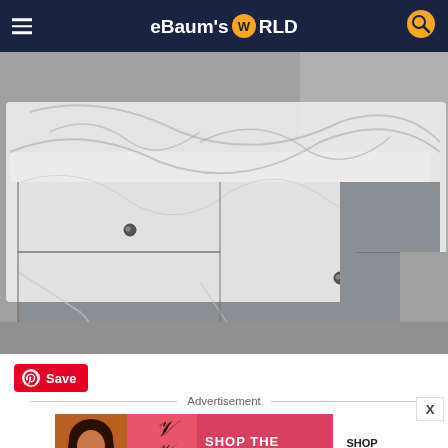eBaum's World
[Figure (photo): A bathroom vanity cabinet with gray/white painted cabinets, covered in clear plastic protective wrap/sheeting on top surface, with round metal knobs, on gray floor]
[Figure (other): Pinterest Save button (red)]
Advertisement
[Figure (other): Victoria's Secret advertisement banner with model, VS logo, text 'SHOP THE COLLECTION', and 'SHOP NOW' button]